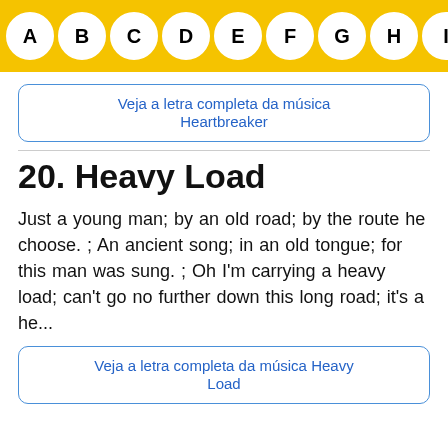A B C D E F G H I J
Veja a letra completa da música Heartbreaker
20. Heavy Load
Just a young man; by an old road; by the route he choose. ; An ancient song; in an old tongue; for this man was sung. ; Oh I'm carrying a heavy load; can't go no further down this long road; it's a he...
Veja a letra completa da música Heavy Load